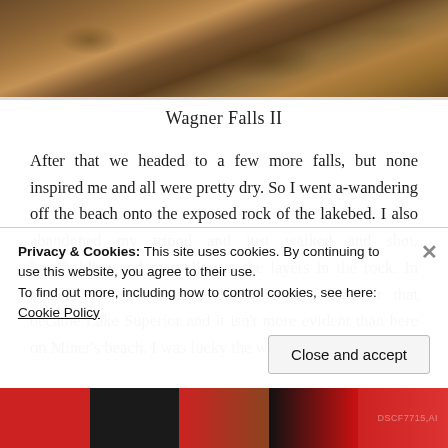[Figure (photo): Photograph of rocky lakebed with water flowing over exposed rocks in warm brown and amber tones]
Wagner Falls II
After that we headed to a few more falls, but none inspired me and all were pretty dry. So I went a-wandering off the beach onto the exposed rock of the lakebed. I also abandoned my tripod and just walked and shot, handholding and marveling at the layers in the rock. In ancient times, volcanic activity created the rift that became Lake Superior and it isn't more evident than here on Miner's beach. I was lucky the water
Privacy & Cookies: This site uses cookies. By continuing to use this website, you agree to their use.
To find out more, including how to control cookies, see here: Cookie Policy
Close and accept